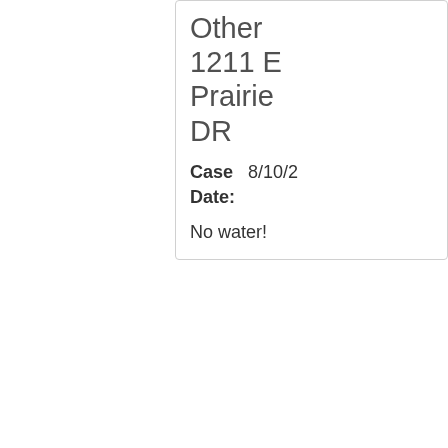Other
1211 E Prairie DR
Case Date: 8/10/2...
No water!
closed
#169545
Other
1350-1364 E 10th St, Bloomington, Indiana